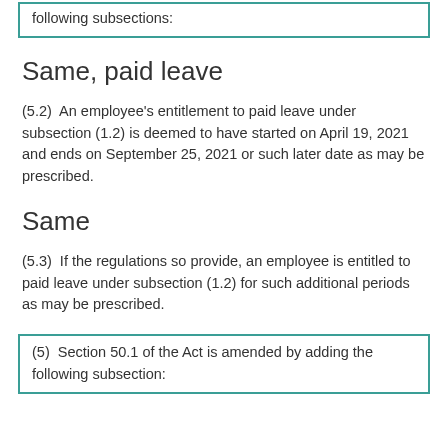following subsections:
Same, paid leave
(5.2)  An employee's entitlement to paid leave under subsection (1.2) is deemed to have started on April 19, 2021 and ends on September 25, 2021 or such later date as may be prescribed.
Same
(5.3)  If the regulations so provide, an employee is entitled to paid leave under subsection (1.2) for such additional periods as may be prescribed.
(5)  Section 50.1 of the Act is amended by adding the following subsection: